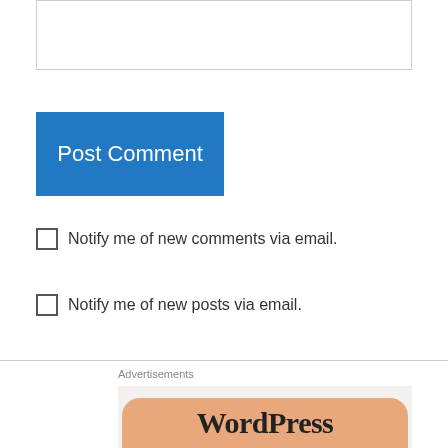[Figure (screenshot): Text input box / comment field, empty, with light border]
Post Comment
Notify me of new comments via email.
Notify me of new posts via email.
Advertisements
[Figure (advertisement): Advertisement showing 'Business in the front...' text in dark bold serif font on light background, with WordPress text on an orange rounded box at the bottom]